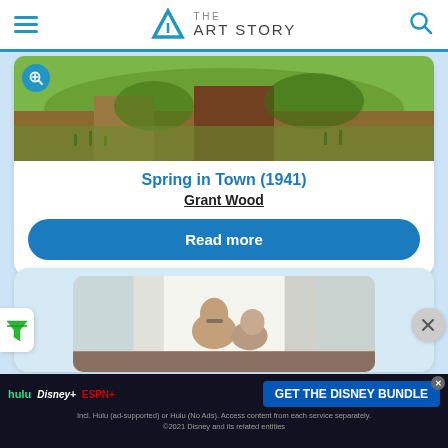THE ART STORY
[Figure (photo): Close-up of a painting showing green grass, soil tones, and plant foliage — portion of Grant Wood's Spring in Town (1941)]
Spring in Town (1941)
Grant Wood
Read more
[Figure (photo): Partial view of a painting showing an elderly couple indoors near a window with curtains, in warm tones — second artwork thumbnail]
[Figure (other): Advertisement: GET THE DISNEY BUNDLE — Hulu, Disney+, ESPN+. Incl. Hulu (ad-supported) or Hulu (No Ads). Access content from each service separately. ©2021 Disney and its related entities]